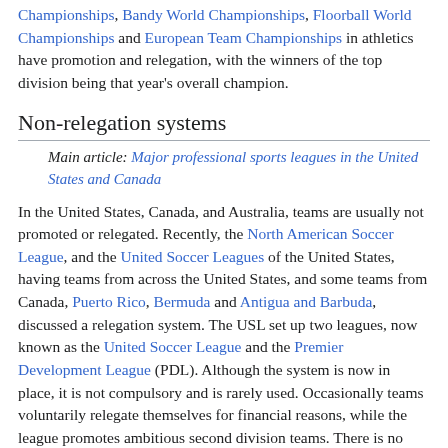Championships, Bandy World Championships, Floorball World Championships and European Team Championships in athletics have promotion and relegation, with the winners of the top division being that year's overall champion.
Non-relegation systems
Main article: Major professional sports leagues in the United States and Canada
In the United States, Canada, and Australia, teams are usually not promoted or relegated. Recently, the North American Soccer League, and the United Soccer Leagues of the United States, having teams from across the United States, and some teams from Canada, Puerto Rico, Bermuda and Antigua and Barbuda, discussed a relegation system. The USL set up two leagues, now known as the United Soccer League and the Premier Development League (PDL). Although the system is now in place, it is not compulsory and is rarely used. Occasionally teams voluntarily relegate themselves for financial reasons, while the league promotes ambitious second division teams. There is no promotion or relegation to or from Major League Soccer; the league cites the